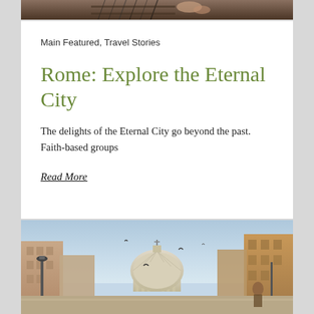[Figure (photo): Top portion of a photo showing what appears to be a guitar or stringed instrument, dark tones]
Main Featured, Travel Stories
Rome: Explore the Eternal City
The delights of the Eternal City go beyond the past. Faith-based groups
Read More
[Figure (photo): Street view of Rome showing St. Peter's Basilica dome in the background, buildings on both sides, birds in the sky, and people walking]